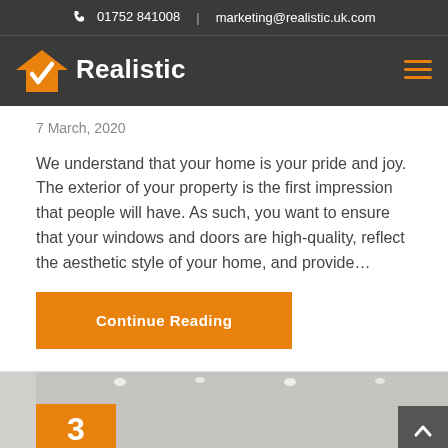01752 841008 | marketing@realistic.uk.com
[Figure (logo): Realistic logo — orange house with checkmark icon and white bold text 'Realistic']
7 March, 2020
We understand that your home is your pride and joy. The exterior of your property is the first impression that people will have. As such, you want to ensure that your windows and doors are high-quality, reflect the aesthetic style of your home, and provide…
Continue Reading
[Figure (photo): Partial view of an interior room with ceiling spotlights and white curtains; orange badge with number 3 in lower left corner]